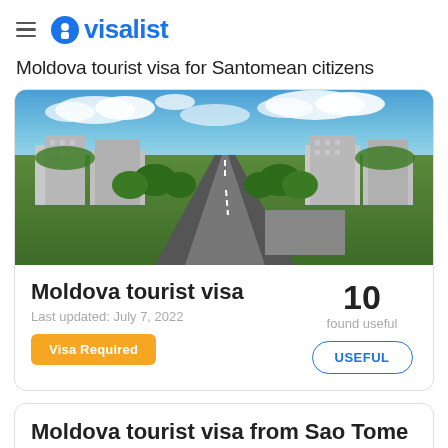visalist
Moldova tourist visa for Santomean citizens
[Figure (photo): Aerial panoramic view of a Moldovan city with buildings, greenery and a boulevard stretching into the distance under a blue sky.]
Moldova tourist visa
Last updated: July 7, 2022
Visa Required
10 found useful
USEFUL
Moldova tourist visa from Sao Tome and Principe